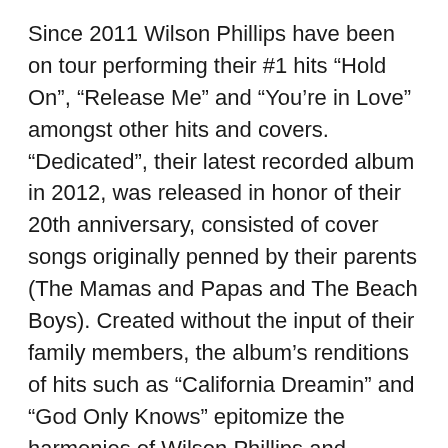Since 2011 Wilson Phillips have been on tour performing their #1 hits “Hold On”, “Release Me” and “You’re in Love” amongst other hits and covers. “Dedicated”, their latest recorded album in 2012, was released in honor of their 20th anniversary, consisted of cover songs originally penned by their parents (The Mamas and Papas and The Beach Boys). Created without the input of their family members, the album’s renditions of hits such as “California Dreamin” and “God Only Knows” epitomize the harmonies of Wilson Phillips and accentuate the classic songs with a breath of fresh air. With five studio albums under their belt and their impressive pedigree as the daughters of two legendary groups: The Mamas and Papas, and The Beach Boys, respectfully, Wilson Phillips’s harmony-rich sound still